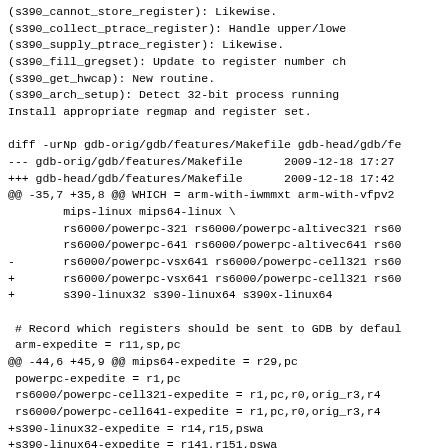(s390_cannot_store_register): Likewise.
(s390_collect_ptrace_register): Handle upper/lower
(s390_supply_ptrace_register): Likewise.
(s390_fill_gregset): Update to register number ch
(s390_get_hwcap): New routine.
(s390_arch_setup): Detect 32-bit process running
Install appropriate regmap and register set.
diff -urNp gdb-orig/gdb/features/Makefile gdb-head/gdb/fe
--- gdb-orig/gdb/features/Makefile      2009-12-18 17:27
+++ gdb-head/gdb/features/Makefile      2009-12-18 17:42
@@ -35,7 +35,8 @@ WHICH = arm-with-iwmmxt arm-with-vfpv2
        mips-linux mips64-linux \
        rs6000/powerpc-321 rs6000/powerpc-altivec321 rs60
        rs6000/powerpc-641 rs6000/powerpc-altivec641 rs60
-       rs6000/powerpc-vsx641 rs6000/powerpc-cell321 rs60
+       rs6000/powerpc-vsx641 rs6000/powerpc-cell321 rs60
+       s390-linux32 s390-linux64 s390x-linux64

 # Record which registers should be sent to GDB by defaul
 arm-expedite = r11,sp,pc
@@ -44,6 +45,9 @@ mips64-expedite = r29,pc
 powerpc-expedite = r1,pc
 rs6000/powerpc-cell321-expedite = r1,pc,r0,orig_r3,r4
 rs6000/powerpc-cell641-expedite = r1,pc,r0,orig_r3,r4
+s390-linux32-expedite = r14,r15,pswa
+s390-linux64-expedite = r141,r151,pswa
+s390x-linux64-expedite = r14,r15,pswa